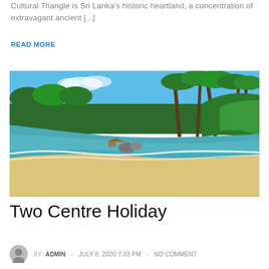Cultural Triangle is Sri Lanka's historic heartland, a concentration of extravagant ancient [...]
READ MORE
[Figure (photo): Tropical beach in Sri Lanka with palm trees, sandy shore, and turquoise water]
Two Centre Holiday
BY ADMIN  JULY 8, 2020 7:33 PM  NO COMMENT